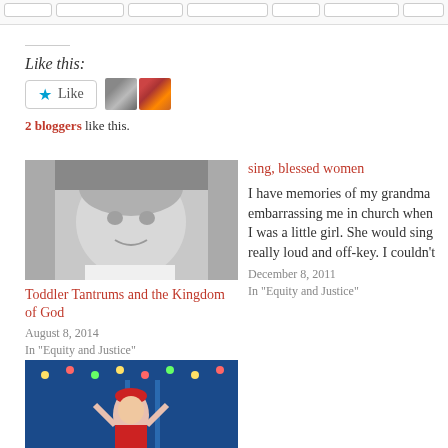[Navigation tabs]
Like this:
[Figure (other): Like button widget with star icon and text 'Like', followed by two blogger avatar thumbnails]
2 bloggers like this.
[Figure (photo): Black and white photo of a crying toddler]
Toddler Tantrums and the Kingdom of God
August 8, 2014
In "Equity and Justice"
sing, blessed women
I have memories of my grandma embarrassing me in church when I was a little girl.  She would sing really loud and off-key.  I couldn't
December 8, 2011
In "Equity and Justice"
[Figure (photo): Color photo of a woman in festive/Christmas attire with lights in background]